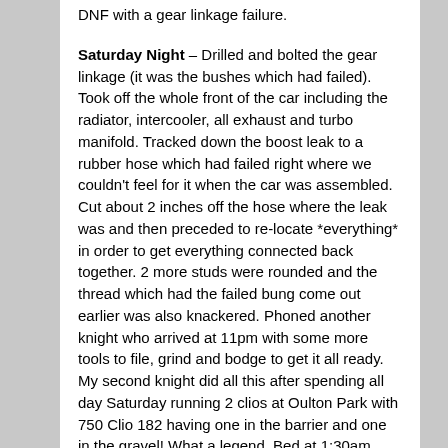DNF with a gear linkage failure.
Saturday Night – Drilled and bolted the gear linkage (it was the bushes which had failed). Took off the whole front of the car including the radiator, intercooler, all exhaust and turbo manifold. Tracked down the boost leak to a rubber hose which had failed right where we couldn't feel for it when the car was assembled. Cut about 2 inches off the hose where the leak was and then preceded to re-locate *everything* in order to get everything connected back together. 2 more studs were rounded and the thread which had the failed bung come out earlier was also knackered. Phoned another knight who arrived at 11pm with some more tools to file, grind and bodge to get it all ready. My second knight did all this after spending all day Saturday running 2 clios at Oulton Park with 750 Clio 182 having one in the barrier and one in the gravel! What a legend. Bed at 1:30am.
Sunday Morning – Woke up at 7, managed to get the studs and bolts to go in after more filing, drilling and grinding. Connected everything up, filled it with water, got it up to temperature and went for a test drive. Lots of boost, no leaks of air or fluids and everything was finally looking good.